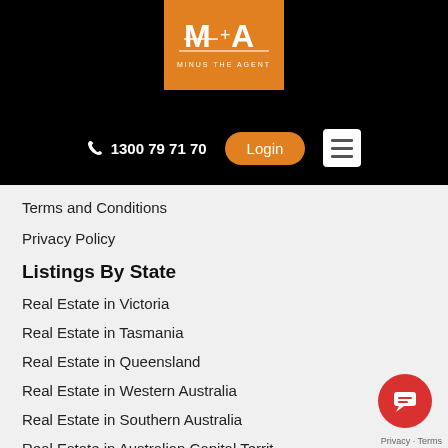[Figure (logo): Minus The Agent logo - orange background with stylized M+A lettering and text MINUS THE AGENT]
1300 79 71 70
Login
Terms and Conditions
Privacy Policy
Listings By State
Real Estate in Victoria
Real Estate in Tasmania
Real Estate in Queensland
Real Estate in Western Australia
Real Estate in Southern Australia
Real Estate in Australian Capital Territ…